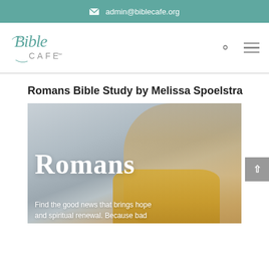✉ admin@biblecafe.org
[Figure (logo): Bible Cafe logo in teal cursive script with 'CAFE' in gray sans-serif]
Romans Bible Study by Melissa Spoelstra
[Figure (photo): Photo of smiling woman with blonde hair wearing yellow, with overlaid large white 'Romans' title text and subtitle 'Find the good news that brings hope and spiritual renewal. Because bad']